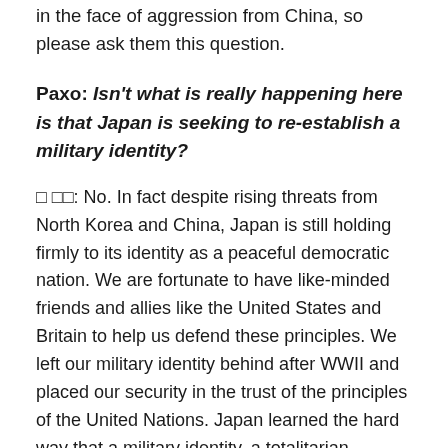in the face of aggression from China, so please ask them this question.
Paxo: Isn't what is really happening here is that Japan is seeking to re-establish a military identity?
安 倍晋: No. In fact despite rising threats from North Korea and China, Japan is still holding firmly to its identity as a peaceful democratic nation. We are fortunate to have like-minded friends and allies like the United States and Britain to help us defend these principles. We left our military identity behind after WWII and placed our security in the trust of the principles of the United Nations. Japan learned the hard way that a military identity, a totalitarian political order, and a militaristic foreign policy courts national disaster. We will never repeat this mistake. But we will also work to warn other nations not to make this mistake, because that that way lies disaster.